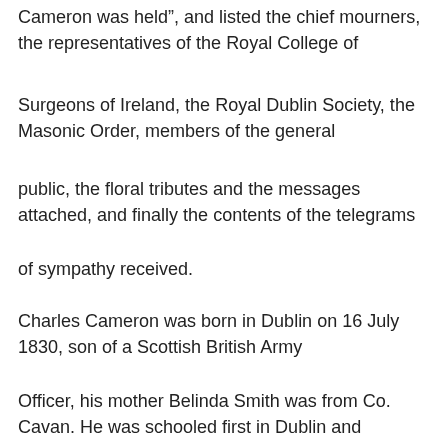Cameron was held”, and listed the chief mourners, the representatives of the Royal College of
Surgeons of Ireland, the Royal Dublin Society, the Masonic Order, members of the general
public, the floral tributes and the messages attached, and finally the contents of the telegrams
of sympathy received.
Charles Cameron was born in Dublin on 16 July 1830, son of a Scottish British Army
Officer, his mother Belinda Smith was from Co. Cavan. He was schooled first in Dublin and
then Guernsey. After his father’s death in 1846 the family